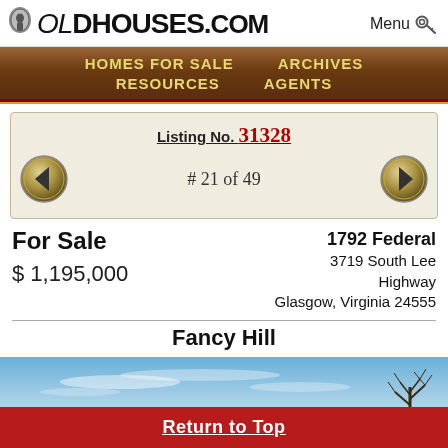OldHouses.com — Menu
HOMES FOR SALE   ARCHIVES   RESOURCES   AGENTS
Listing No. 31328
# 21 of 49
For Sale
$ 1,195,000
1792 Federal
3719 South Lee Highway
Glasgow, Virginia 24555
Fancy Hill
[Figure (photo): Outdoor photo showing blue sky with light clouds and a bare tree on the right side.]
Return to Top